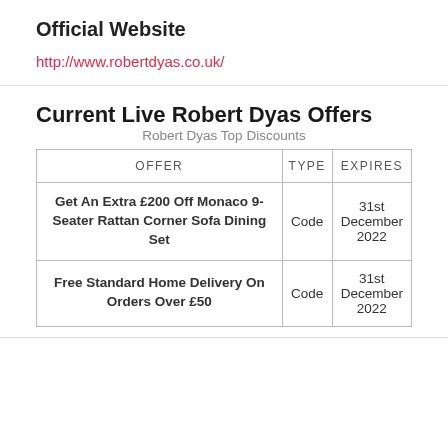Official Website
http://www.robertdyas.co.uk/
Current Live Robert Dyas Offers
Robert Dyas Top Discounts
| OFFER | TYPE | EXPIRES |
| --- | --- | --- |
| Get An Extra £200 Off Monaco 9-Seater Rattan Corner Sofa Dining Set | Code | 31st December 2022 |
| Free Standard Home Delivery On Orders Over £50 | Code | 31st December 2022 |